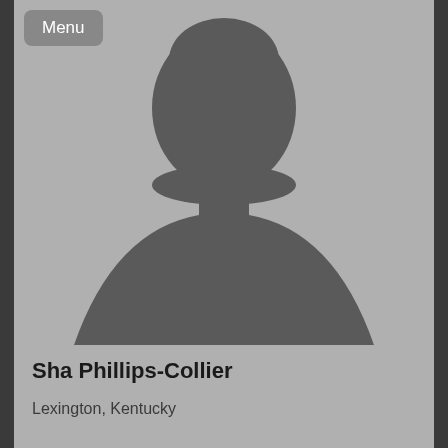[Figure (illustration): Generic placeholder silhouette of a person (head and shoulders) on a light gray background]
Sha Phillips-Collier
Lexington, Kentucky